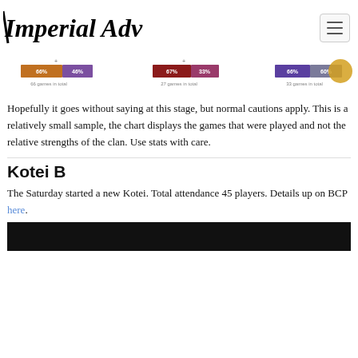Imperial Advisor
[Figure (screenshot): Partial view of stacked bar charts showing game win/loss percentages for different clans, with labels like '66 games in total', '27 games in total', '33 games in total']
Hopefully it goes without saying at this stage, but normal cautions apply. This is a relatively small sample, the chart displays the games that were played and not the relative strengths of the clan. Use stats with care.
Kotei B
The Saturday started a new Kotei. Total attendance 45 players. Details up on BCP here.
[Figure (screenshot): Bottom portion of a dark image, partially visible at bottom of page]